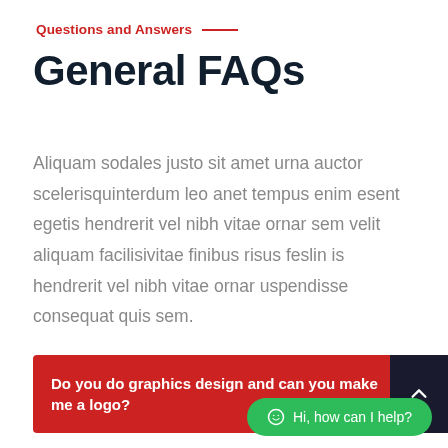Questions and Answers
General FAQs
Aliquam sodales justo sit amet urna auctor scelerisquinterdum leo anet tempus enim esent egetis hendrerit vel nibh vitae ornar sem velit aliquam facilisivitae finibus risus feslin is hendrerit vel nibh vitae ornar uspendisse consequat quis sem.
Do you do graphics design and can you make me a logo?